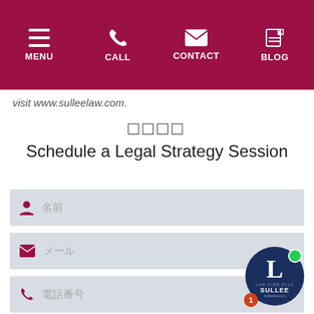MENU  CALL  CONTACT  BLOG
visit www.sulleelaw.com.
Schedule a Legal Strategy Session
[Figure (screenshot): Web form with three input fields: Name, Email, Phone, and a partial fourth field. Each field has a colored icon on the left and placeholder text. A chat widget with Sullee Law Firm logo appears in the bottom right corner.]